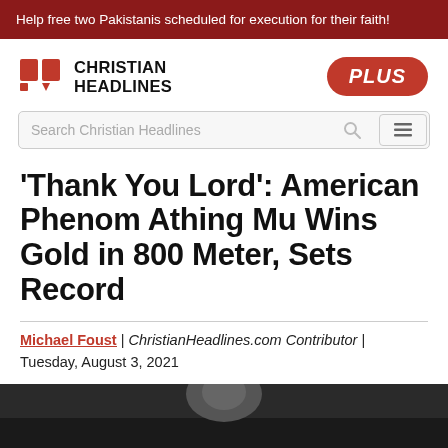Help free two Pakistanis scheduled for execution for their faith!
[Figure (logo): Christian Headlines logo with red bracket-speech-bubble icon and bold text CHRISTIAN HEADLINES, plus orange PLUS badge on right]
[Figure (screenshot): Search bar reading 'Search Christian Headlines' with search icon and hamburger menu button]
'Thank You Lord': American Phenom Athing Mu Wins Gold in 800 Meter, Sets Record
Michael Foust | ChristianHeadlines.com Contributor | Tuesday, August 3, 2021
[Figure (photo): Partial photo at bottom of page, dark background with partial view of a person]